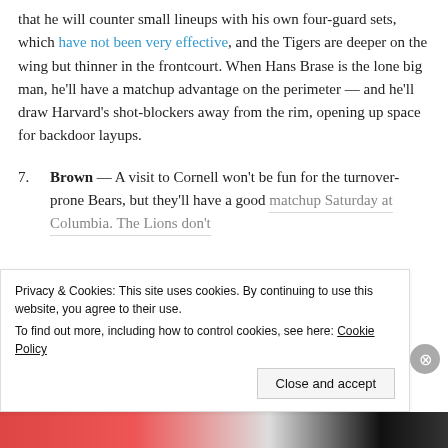that he will counter small lineups with his own four-guard sets, which have not been very effective, and the Tigers are deeper on the wing but thinner in the frontcourt. When Hans Brase is the lone big man, he'll have a matchup advantage on the perimeter — and he'll draw Harvard's shot-blockers away from the rim, opening up space for backdoor layups.
7. Brown — A visit to Cornell won't be fun for the turnover-prone Bears, but they'll have a good matchup Saturday at Columbia. The Lions don't
Privacy & Cookies: This site uses cookies. By continuing to use this website, you agree to their use. To find out more, including how to control cookies, see here: Cookie Policy